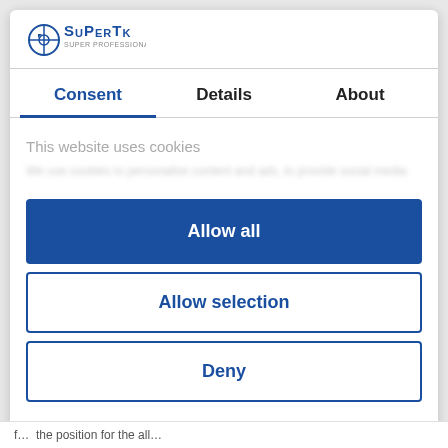[Figure (logo): SuPerTk logo with compass/crosshair icon and stylized text]
Consent	Details	About
This website uses cookies
[blurred cookie consent description text]
Allow all
Allow selection
Deny
Powered by Cookiebot by Usercentrics
f ... th ... th ... iti ... f ... th ... ll ...